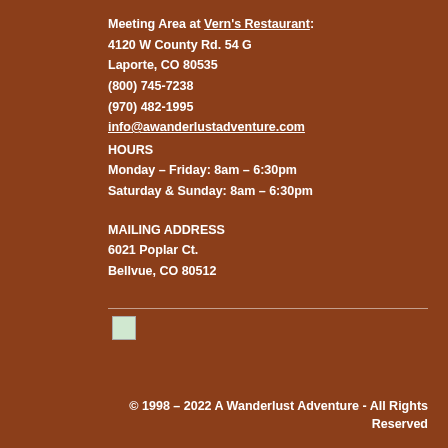Meeting Area at Vern's Restaurant:
4120 W County Rd. 54 G
Laporte, CO 80535
(800) 745-7238
(970) 482-1995
info@awanderlustadventure.com
HOURS
Monday – Friday: 8am – 6:30pm
Saturday & Sunday: 8am – 6:30pm
MAILING ADDRESS
6021 Poplar Ct.
Bellvue, CO 80512
[Figure (logo): Small logo image placeholder]
© 1998 – 2022 A Wanderlust Adventure - All Rights Reserved